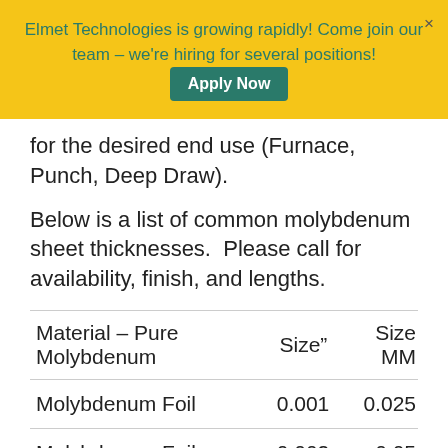Elmet Technologies is growing rapidly! Come join our team – we're hiring for several positions! Apply Now ×
for the desired end use (Furnace, Punch, Deep Draw).
Below is a list of common molybdenum sheet thicknesses.  Please call for availability, finish, and lengths.
| Material – Pure Molybdenum | Size" | Size MM |
| --- | --- | --- |
| Molybdenum Foil | 0.001 | 0.025 |
| Molybdenum Foil | 0.002 | 0.05 |